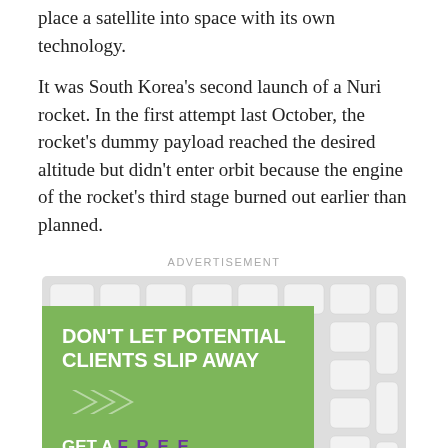place a satellite into space with its own technology.
It was South Korea's second launch of a Nuri rocket. In the first attempt last October, the rocket's dummy payload reached the desired altitude but didn't enter orbit because the engine of the rocket's third stage burned out earlier than planned.
[Figure (illustration): Advertisement banner for Flypaper showing a keyboard background with a green overlay. Text reads: DON'T LET POTENTIAL CLIENTS SLIP AWAY with arrow icons, GET A FREE ONLINE ANALYSIS, and the Flypaper logo.]